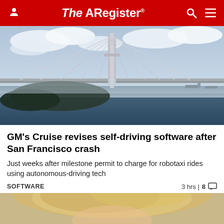The Register
[Figure (photo): Aerial photo of a large cable-stayed bridge over water with fog and clouds]
GM's Cruise revises self-driving software after San Francisco crash
Just weeks after milestone permit to charge for robotaxi rides using autonomous-driving tech
SOFTWARE   3 hrs | 8
[Figure (photo): Partial photo of a person with blonde hair at the bottom of the page]